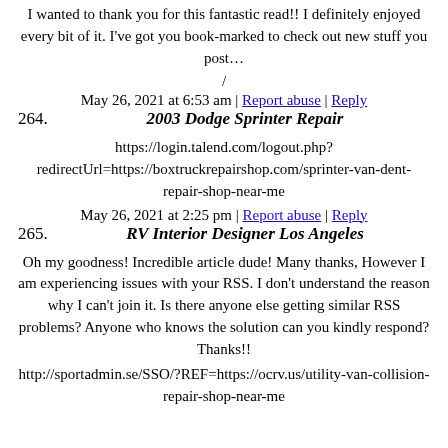I wanted to thank you for this fantastic read!! I definitely enjoyed every bit of it. I've got you book-marked to check out new stuff you post…
/
May 26, 2021 at 6:53 am | Report abuse | Reply
264. 2003 Dodge Sprinter Repair
https://login.talend.com/logout.php?redirectUrl=https://boxtruckrepairshop.com/sprinter-van-dent-repair-shop-near-me
May 26, 2021 at 2:25 pm | Report abuse | Reply
265. RV Interior Designer Los Angeles
Oh my goodness! Incredible article dude! Many thanks, However I am experiencing issues with your RSS. I don't understand the reason why I can't join it. Is there anyone else getting similar RSS problems? Anyone who knows the solution can you kindly respond? Thanks!!
http://sportadmin.se/SSO/?REF=https://ocrv.us/utility-van-collision-repair-shop-near-me